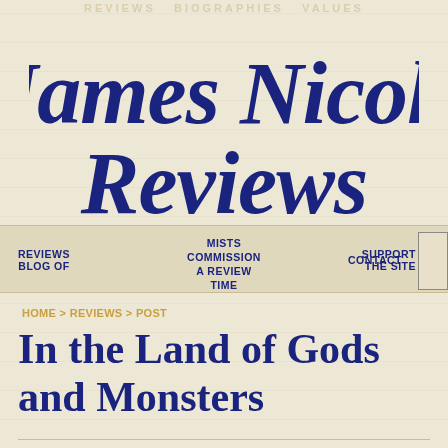REVIEWS BIOGRAPHIES VALUES
[Figure (logo): James Nicoll Reviews script logo in dark navy blue italic cursive font]
REVIEWS BLOG OF MISTS OF TIME | COMMISSION A REVIEW | CONTACT | SUPPORT THE SITE
HOME > REVIEWS > POST
In the Land of Gods and Monsters